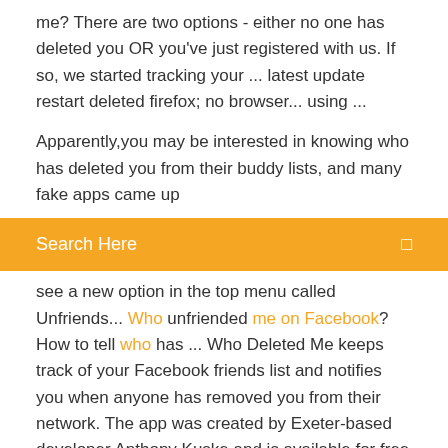me? There are two options - either no one has deleted you OR you've just registered with us. If so, we started tracking your ... latest update restart deleted firefox; no browser... using ...
Apparently,you may be interested in knowing who has deleted you from their buddy lists, and many fake apps came up
[Figure (screenshot): Orange search bar with white text 'Search Here' and a search icon on the right]
see a new option in the top menu called Unfriends... Who unfriended me on Facebook? How to tell who has ... Who Deleted Me keeps track of your Facebook friends list and notifies you when anyone has removed you from their network. The app was created by Exeter-based developer Anthony Kuske and is available for free on Android and iOS. There is also a free browser extension for Chrome. App Who Deleted Me shows who has defriended you on ... BuzzFeed has spotted "Who Deleted Me," an app that shows users who has unfriended them or deactivated their Facebook accounts. It will not, however, tell